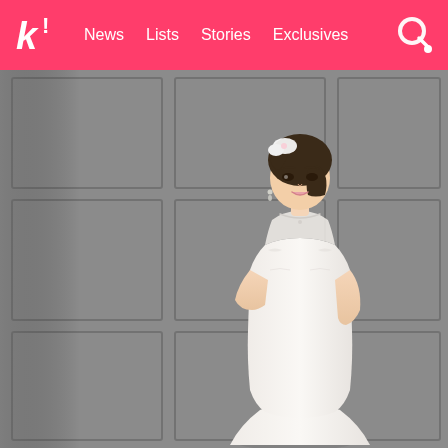k! News  Lists  Stories  Exclusives
[Figure (photo): A young Asian woman wearing a white lace mermaid-style wedding dress with floral hair accessory, standing against a grey paneled wall, arms crossed, looking at camera.]